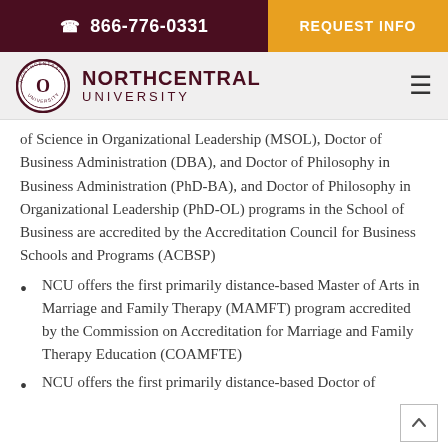866-776-0331 | REQUEST INFO
[Figure (logo): Northcentral University logo with circular seal and text NORTHCENTRAL UNIVERSITY]
of Science in Organizational Leadership (MSOL), Doctor of Business Administration (DBA), and Doctor of Philosophy in Business Administration (PhD-BA), and Doctor of Philosophy in Organizational Leadership (PhD-OL) programs in the School of Business are accredited by the Accreditation Council for Business Schools and Programs (ACBSP)
NCU offers the first primarily distance-based Master of Arts in Marriage and Family Therapy (MAMFT) program accredited by the Commission on Accreditation for Marriage and Family Therapy Education (COAMFTE)
NCU offers the first primarily distance-based Doctor of